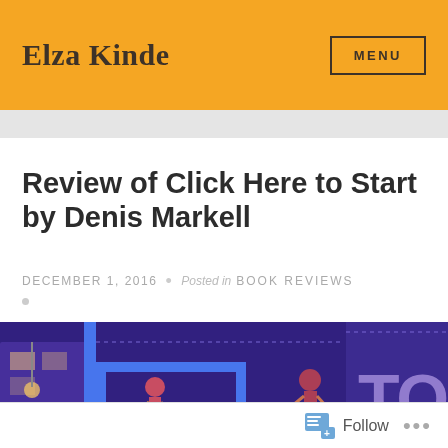Elza Kinde
Review of Click Here to Start by Denis Markell
DECEMBER 1, 2016 • Posted in BOOK REVIEWS
[Figure (illustration): Book cover or promotional image for 'Click Here to Start' showing a video-game style scene with characters in a purple-tinted environment with text 'TO' visible]
Follow